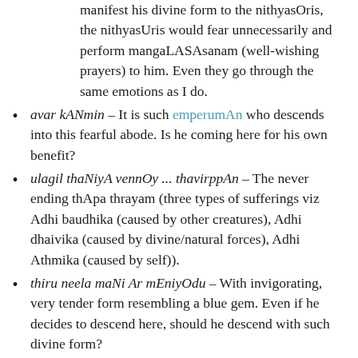manifest his divine form to the nithyasOris, the nithyasUris would fear unnecessarily and perform mangaLASAsanam (well-wishing prayers) to him. Even they go through the same emotions as I do.
avar kANmin – It is such emperumAn who descends into this fearful abode. Is he coming here for his own benefit?
ulagil thaNiyA vennOy ... thavirppAn – The never ending thApa thrayam (three types of sufferings viz Adhi baudhika (caused by other creatures), Adhi dhaivika (caused by divine/natural forces), Adhi Athmika (caused by self)).
thiru neela maNi Ar mEniyOdu – With invigorating, very tender form resembling a blue gem. Even if he decides to descend here, should he descend with such divine form?